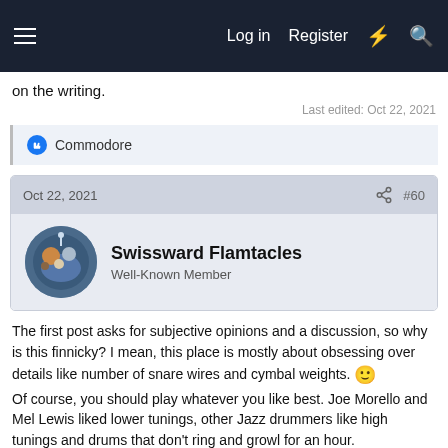Log in  Register
on the writing.
Last edited: Oct 22, 2021
Commodore
Oct 22, 2021   #60
Swissward Flamtacles
Well-Known Member
The first post asks for subjective opinions and a discussion, so why is this finnicky? I mean, this place is mostly about obsessing over details like number of snare wires and cymbal weights. 🙂 Of course, you should play whatever you like best. Joe Morello and Mel Lewis liked lower tunings, other Jazz drummers like high tunings and drums that don't ring and growl for an hour.
I like the point about the mics, though. If you use mics anyway, you can get a big sound out of small drums. If you also want to